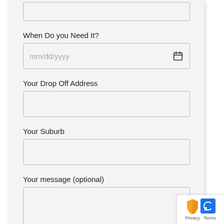When Do you Need It?
mm/dd/yyyy
Your Drop Off Address
Your Suburb
Your message (optional)
[Figure (screenshot): reCAPTCHA privacy badge with orange shield icon and blue arrow icon, showing Privacy - Terms links]